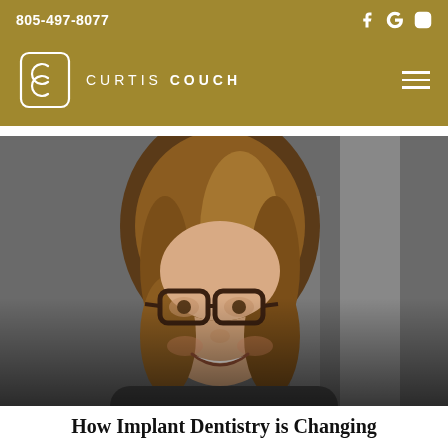805-497-8077
[Figure (logo): Curtis Couch dental practice logo with stylized CC monogram and text 'CURTIS COUCH' in white on gold background]
[Figure (photo): Smiling woman with glasses and blonde wavy hair, photographed against a blurred grey background]
How Implant Dentistry is Changing